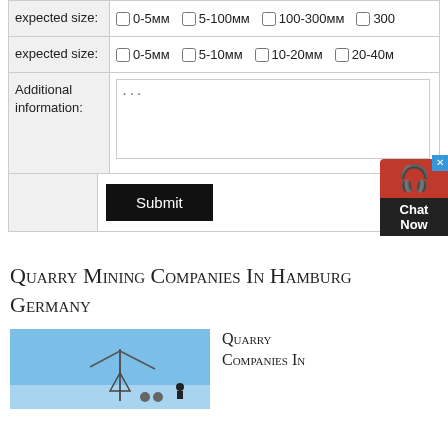| Field | Options |
| --- | --- |
| expected size: | ☐ 0-5мм  ☐ 5-100мм  ☐ 100-300мм  ☐ 300+ |
| expected size: | ☐ 0-5мм  ☐ 5-10мм  ☐ 10-20мм  ☐ 20-40мм |
| Additional information: | ... |
|  | Submit |
Quarry Mining Companies In Hamburg Germany
[Figure (photo): Photo of quarry mining equipment or crane against a blue sky]
Quarry Companies In